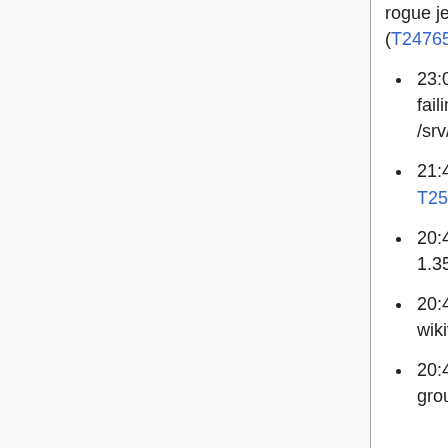rogue jenkins process, start jenkins with systemctl start jenkins (T247652)
23:02 mutante: releases1002/2002 - disabling puppet, removing failing cron job to pull deployment_charts (because /srv/deployment-charts does not exist yet)
21:45 shdubsh: install mtail 3.0.0~rc35+wmf2 on logstash1007 - T255776
20:42 brennen@deploy1001: Synchronized php: group1 wikis to 1.35.0-wmf.38 (duration: 01m 06s)
20:41 brennen@deploy1001: rebuilt and synchronized wikiversions files: group1 wikis to 1.35.0-wmf.38
20:41 brennen: train 1.35.0-wmf.38: attempting to roll forward to group1 after php-fpm restart on mw1287